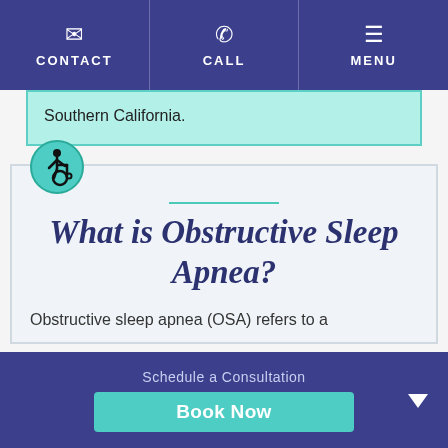CONTACT | CALL | MENU
Southern California.
[Figure (illustration): Wheelchair accessibility icon — person in wheelchair, circular teal border]
What is Obstructive Sleep Apnea?
Obstructive sleep apnea (OSA) refers to a
Schedule a Consultation
Book Now